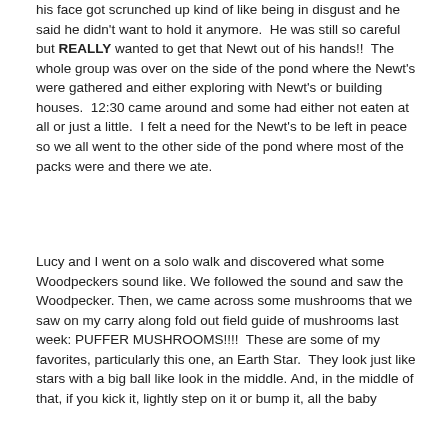his face got scrunched up kind of like being in disgust and he said he didn't want to hold it anymore.  He was still so careful but REALLY wanted to get that Newt out of his hands!!  The whole group was over on the side of the pond where the Newt's were gathered and either exploring with Newt's or building houses.  12:30 came around and some had either not eaten at all or just a little.  I felt a need for the Newt's to be left in peace so we all went to the other side of the pond where most of the packs were and there we ate.
Lucy and I went on a solo walk and discovered what some Woodpeckers sound like. We followed the sound and saw the Woodpecker. Then, we came across some mushrooms that we saw on my carry along fold out field guide of mushrooms last week: PUFFER MUSHROOMS!!!!  These are some of my favorites, particularly this one, an Earth Star.  They look just like stars with a big ball like look in the middle. And, in the middle of that, if you kick it, lightly step on it or bump it, all the baby